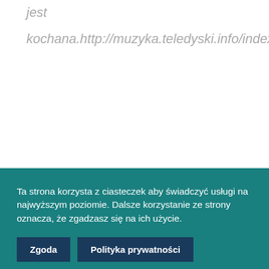jest
kochana.http://muzyka.teledyski.info/index.html?
Ta strona korzysta z ciasteczek aby świadczyć usługi na najwyższym poziomie. Dalsze korzystanie ze strony oznacza, że zgadzasz się na ich użycie.
Zgoda
Polityka prywatności